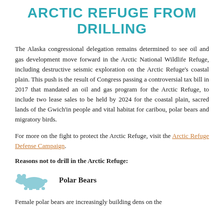ARCTIC REFUGE FROM DRILLING
The Alaska congressional delegation remains determined to see oil and gas development move forward in the Arctic National Wildlife Refuge, including destructive seismic exploration on the Arctic Refuge's coastal plain. This push is the result of Congress passing a controversial tax bill in 2017 that mandated an oil and gas program for the Arctic Refuge, to include two lease sales to be held by 2024 for the coastal plain, sacred lands of the Gwich'in people and vital habitat for caribou, polar bears and migratory birds.
For more on the fight to protect the Arctic Refuge, visit the Arctic Refuge Defense Campaign.
Reasons not to drill in the Arctic Refuge:
[Figure (illustration): Light blue polar bear silhouette icon]
Polar Bears
Female polar bears are increasingly building dens on the